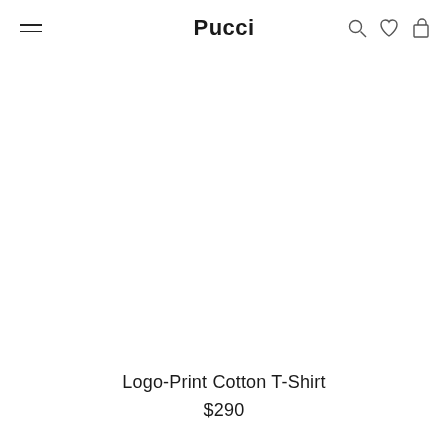Pucci
[Figure (other): Product image area - white/blank product photo space for Logo-Print Cotton T-Shirt]
Logo-Print Cotton T-Shirt
$290